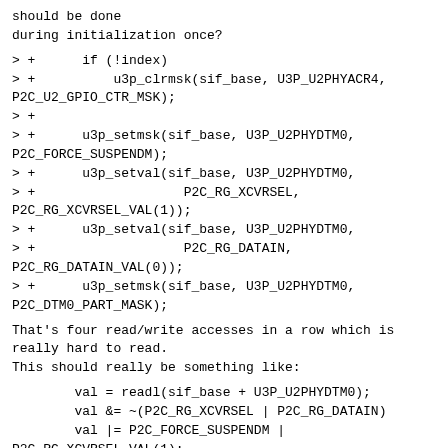should be done
during initialization once?
> +      if (!index)
> +          u3p_clrmsk(sif_base, U3P_U2PHYACR4,
P2C_U2_GPIO_CTR_MSK);
> +
> +      u3p_setmsk(sif_base, U3P_U2PHYDTM0,
P2C_FORCE_SUSPENDM);
> +      u3p_setval(sif_base, U3P_U2PHYDTM0,
> +                   P2C_RG_XCVRSEL,
P2C_RG_XCVRSEL_VAL(1));
> +      u3p_setval(sif_base, U3P_U2PHYDTM0,
> +                   P2C_RG_DATAIN,
P2C_RG_DATAIN_VAL(0));
> +      u3p_setmsk(sif_base, U3P_U2PHYDTM0,
P2C_DTM0_PART_MASK);
That's four read/write accesses in a row which is
really hard to read.
This should really be something like:
val = readl(sif_base + U3P_U2PHYDTM0);
        val &= ~(P2C_RG_XCVRSEL | P2C_RG_DATAIN)
        val |= P2C_FORCE_SUSPENDM |
P2C_RG_XCVRSEL_VAL(1);
        writel(val, sif_base + U3P_U2PHYDTM0);
Those read/modify/write access functions often have the
tendency to lead